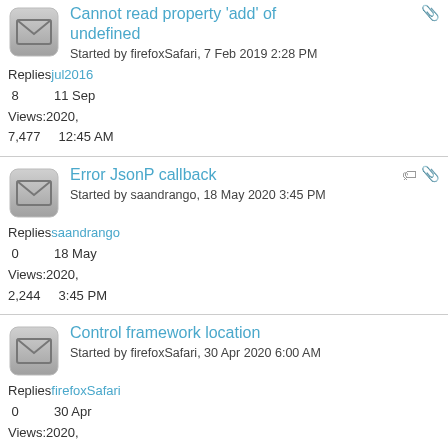Cannot read property 'add' of undefined
Started by firefoxSafari, 7 Feb 2019 2:28 PM
Replies: jul2016
8   11 Sep
Views: 2020,
7,477   12:45 AM
Error JsonP callback
Started by saandrango, 18 May 2020 3:45 PM
Replies: saandrango
0   18 May
Views: 2020,
2,244   3:45 PM
Control framework location
Started by firefoxSafari, 30 Apr 2020 6:00 AM
Replies: firefoxSafari
0   30 Apr
Views: 2020,
2,097   6:00 AM